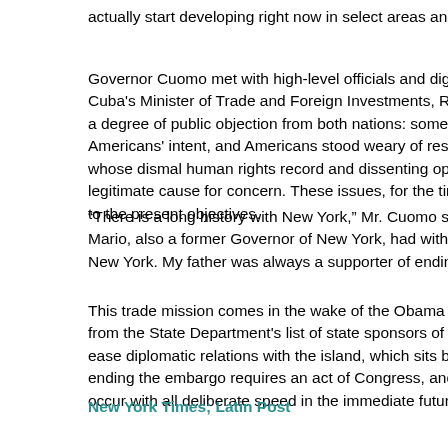actually start developing right now in select areas and those are are
Governor Cuomo met with high-level officials and dignitaries, including Cuba's Minister of Trade and Foreign Investments, Rodrigo Malmierca degree of public objection from both nations: some Cubans remain Americans' intent, and Americans stood weary of restoring diplomatic whose dismal human rights record and dissenting opinion of same-s legitimate cause for concern. These issues, for the time being, appe to the present objectives.
“There is a long history with New York,” Mr. Cuomo said, speaking on Mario, also a former Governor of New York, had with Cuba. “Fidel Ca New York. My father was always a supporter of ending the embargo
This trade mission comes in the wake of the Obama Administration's from the State Department's list of state sponsors of terrorism and M ease diplomatic relations with the island, which sits but 90 miles from ending the embargo requires an act of Congress, and there is little li occur with all deliberate speed in the immediate future.
New York Times; Latin Post